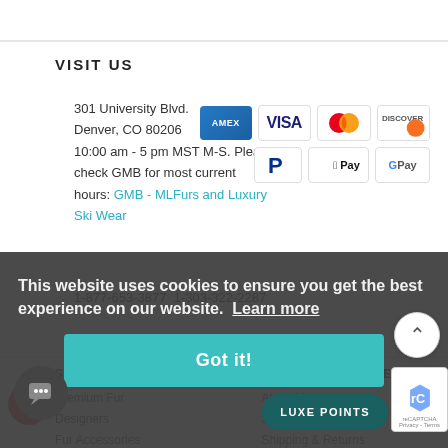VISIT US
301 University Blvd.
Denver, CO 80206
10:00 am - 5 pm MST M-S. Please check GMB for most current hours: GMB - MLFurs and Luxury Ski Wear
[Figure (other): Payment method icons: AMEX, VISA, Mastercard, Discover, PayPal, Apple Pay, Google Pay]
1-877-653-3877  1-303-322-2287
SHOP MLFURS
CUSTOMER CARE
Premium Fur
About Us
Designers
Size Guides
Fur Accessories
Shipping & Returns
Gift Cards
Contact
Guide
Policies
Look Books
FAQs
This website uses cookies to ensure you get the best experience on our website. Learn more
Got it!